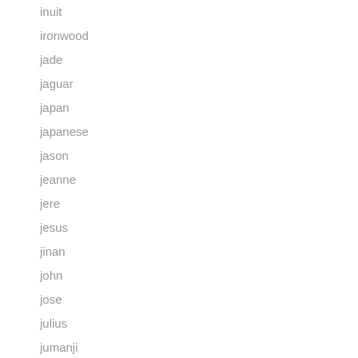inuit
ironwood
jade
jaguar
japan
japanese
jason
jeanne
jere
jesus
jinan
john
jose
julius
jumanji
jumbo
junior